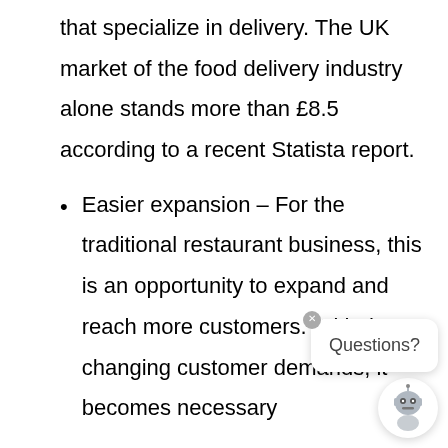that specialize in delivery. The UK market of the food delivery industry alone stands more than £8.5 according to a recent Statista report.
Easier expansion – For the traditional restaurant business, this is an opportunity to expand and reach more customers. With the changing customer demands, it becomes necessary
[Figure (other): Chat widget overlay showing a 'Questions?' bubble with a close button and a robot avatar icon]